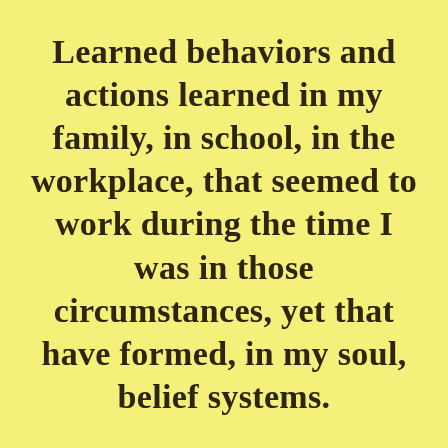Learned behaviors and actions learned in my family, in school, in the workplace, that seemed to work during the time I was in those circumstances, yet that have formed, in my soul, belief systems.